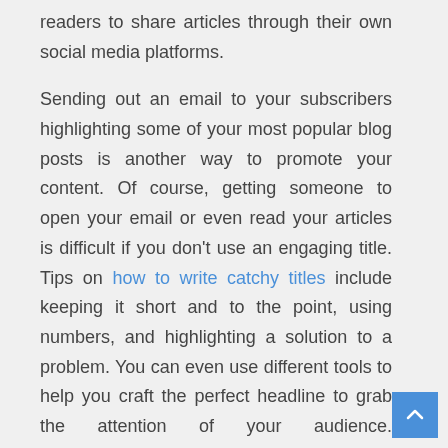readers to share articles through their own social media platforms.

Sending out an email to your subscribers highlighting some of your most popular blog posts is another way to promote your content. Of course, getting someone to open your email or even read your articles is difficult if you don't use an engaging title. Tips on how to write catchy titles include keeping it short and to the point, using numbers, and highlighting a solution to a problem. You can even use different tools to help you craft the perfect headline to grab the attention of your audience. Experimenting with different ways to promote your content can also make it easier for you to discover the best ways to share your articles.